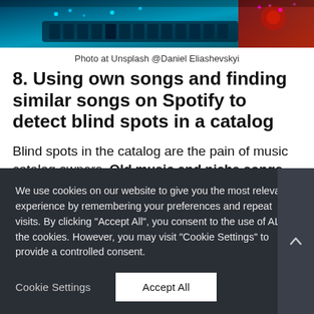[Figure (photo): Partial photo of a DJ controller/keyboard with cyan/blue and red lighting tones — cropped banner image.]
Photo at Unsplash @Daniel Eliashevskyi
8. Using own songs and finding similar songs on Spotify to detect blind spots in a catalog
Blind spots in the catalog are the pain of music catalog owners. Old music and niche songs are often stuck in the tail of the catalog with no chance for
We use cookies on our website to give you the most relevant experience by remembering your preferences and repeat visits. By clicking "Accept All", you consent to the use of ALL the cookies. However, you may visit "Cookie Settings" to provide a controlled consent.